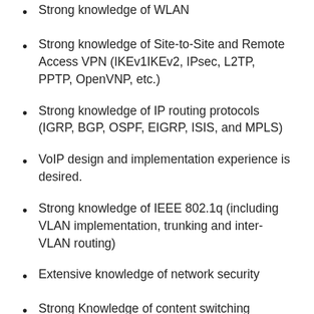Strong knowledge of WLAN
Strong knowledge of Site-to-Site and Remote Access VPN (IKEv1IKEv2, IPsec, L2TP, PPTP, OpenVNP, etc.)
Strong knowledge of IP routing protocols (IGRP, BGP, OSPF, EIGRP, ISIS, and MPLS)
VoIP design and implementation experience is desired.
Strong knowledge of IEEE 802.1q (including VLAN implementation, trunking and inter-VLAN routing)
Extensive knowledge of network security
Strong Knowledge of content switching